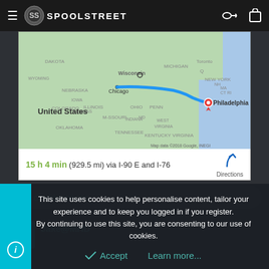SPOOLSTREET
[Figure (map): Google Maps showing a route from Wisconsin/Chicago area to Philadelphia via I-90 E and I-76, with a blue line route drawn across the northeastern United States. Map data ©2018 Google, INEGI.]
15 h 4 min (929.5 mi) via I-90 E and I-76
😂 doublespaces
Jake@MHD
This site uses cookies to help personalise content, tailor your experience and to keep you logged in if you register.
By continuing to use this site, you are consenting to our use of cookies.